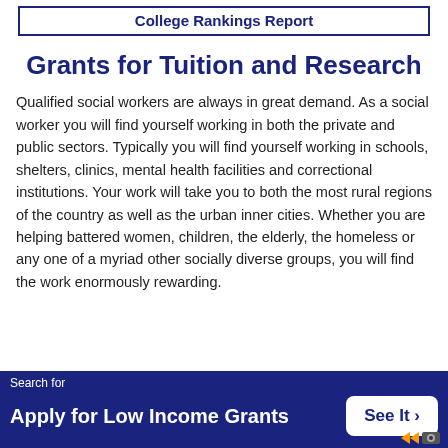College Rankings Report
Grants for Tuition and Research
Qualified social workers are always in great demand. As a social worker you will find yourself working in both the private and public sectors. Typically you will find yourself working in schools, shelters, clinics, mental health facilities and correctional institutions. Your work will take you to both the most rural regions of the country as well as the urban inner cities. Whether you are helping battered women, children, the elderly, the homeless or any one of a myriad other socially diverse groups, you will find the work enormously rewarding.
Search for Apply for Low Income Grants See It >